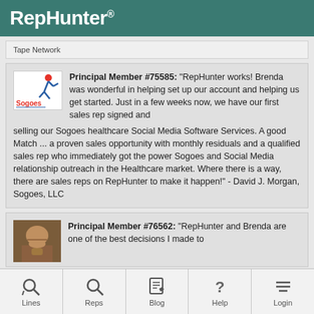RepHunter®
Tape Network
Principal Member #75585: "RepHunter works! Brenda was wonderful in helping set up our account and helping us get started. Just in a few weeks now, we have our first sales rep signed and selling our Sogoes healthcare Social Media Software Services. A good Match ... a proven sales opportunity with monthly residuals and a qualified sales rep who immediately got the power Sogoes and Social Media relationship outreach in the Healthcare market. Where there is a way, there are sales reps on RepHunter to make it happen!" - David J. Morgan, Sogoes, LLC
Principal Member #76562: "RepHunter and Brenda are one of the best decisions I made to
Lines  Reps  Blog  Help  Login